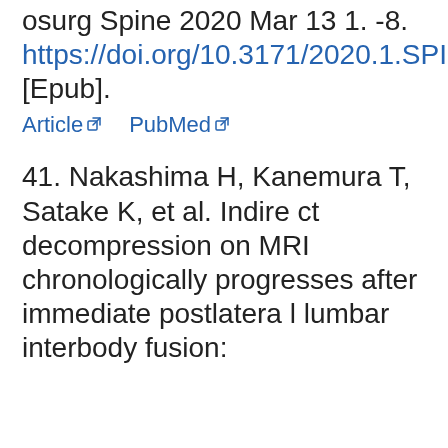osurg Spine 2020 Mar 13 1. -8. https://doi.org/10.3171/2020.1.SPINE191412. [Epub].
Article   PubMed
41. Nakashima H, Kanemura T, Satake K, et al. Indirect decompression on MRI chronologically progresses after immediate postlateral lumbar interbody fusion: